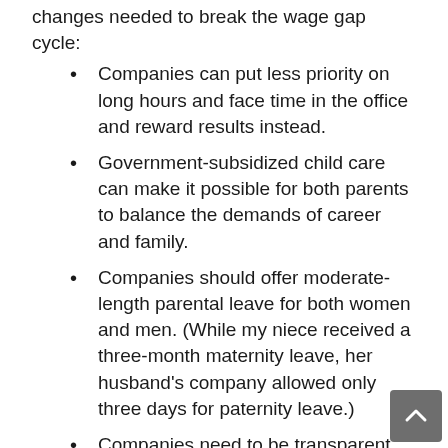changes needed to break the wage gap cycle:
Companies can put less priority on long hours and face time in the office and reward results instead.
Government-subsidized child care can make it possible for both parents to balance the demands of career and family.
Companies should offer moderate-length parental leave for both women and men. (While my niece received a three-month maternity leave, her husband's company allowed only three days for paternity leave.)
Companies need to be transparent about salary data.